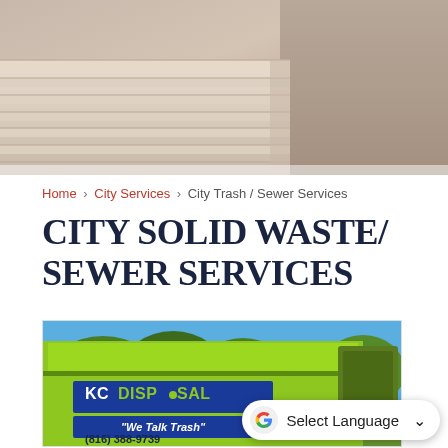[Figure (photo): Top banner photo showing a building/house exterior with beige/tan tones]
Home › City Services › City Trash / Sewer Services
CITY SOLID WASTE/ SEWER SERVICES
[Figure (photo): Photo of a bright green KC Disposal garbage truck with text 'KC DISPOSAL', '"We Talk Trash"', and '(816) 388-9739' visible on the side, with trees and blue sky in background]
Select Language